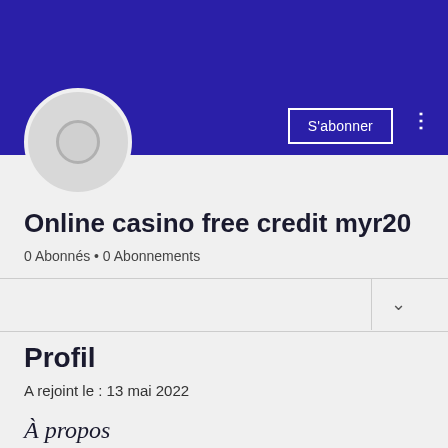[Figure (screenshot): Dark blue banner background at top of profile page]
[Figure (illustration): Circular user avatar placeholder with grey circle and inner ring]
S'abonner
Online casino free credit myr20
0 Abonnés • 0 Abonnements
Profil
A rejoint le : 13 mai 2022
À propos